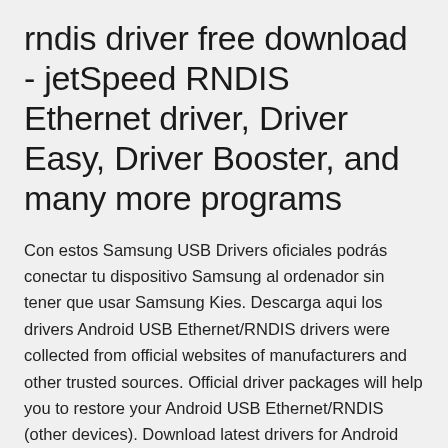rndis driver free download - jetSpeed RNDIS Ethernet driver, Driver Easy, Driver Booster, and many more programs
Con estos Samsung USB Drivers oficiales podrás conectar tu dispositivo Samsung al ordenador sin tener que usar Samsung Kies. Descarga aqui los drivers Android USB Ethernet/RNDIS drivers were collected from official websites of manufacturers and other trusted sources. Official driver packages will help you to restore your Android USB Ethernet/RNDIS (other devices). Download latest drivers for Android USB Ethernet/RNDIS on Windows. × 21/06/2020 Instalar drivers Xiaomi Android en Windows Posted on 4 enero, 2016 by xiaomiesp in Guias with 26 Comments Instalar drivers Xiaomi Android on Windows. En